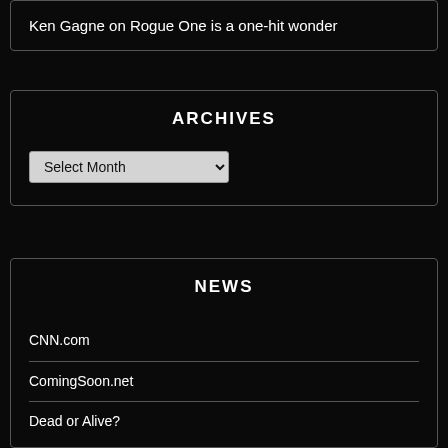Ken Gagne on Rogue One is a one-hit wonder
ARCHIVES
Select Month
NEWS
CNN.com
ComingSoon.net
Dead or Alive?